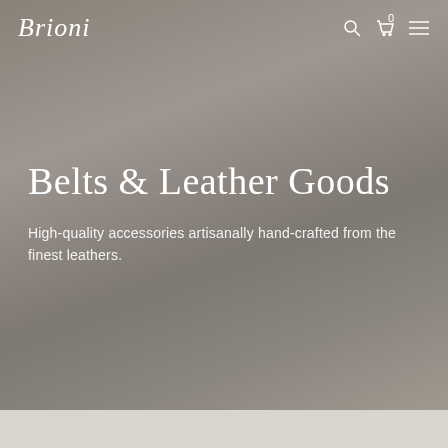Brioni
Belts & Leather Goods
High-quality accessories artisanally hand-crafted from the finest leathers.